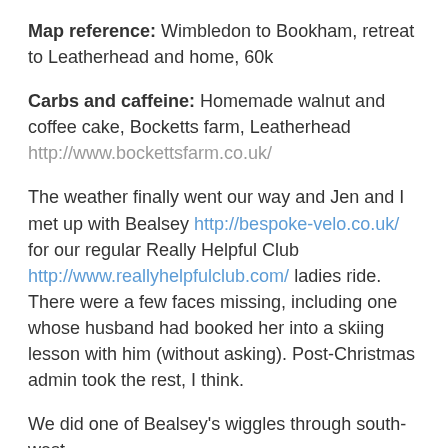Map reference: Wimbledon to Bookham, retreat to Leatherhead and home, 60k
Carbs and caffeine: Homemade walnut and coffee cake, Bocketts farm, Leatherhead http://www.bockettsfarm.co.uk/
The weather finally went our way and Jen and I met up with Bealsey http://bespoke-velo.co.uk/ for our regular Really Helpful Club http://www.reallyhelpfulclub.com/ ladies ride. There were a few faces missing, including one whose husband had booked her into a skiing lesson with him (without asking). Post-Christmas admin took the rest, I think.
We did one of Bealsey's wiggles through south-west